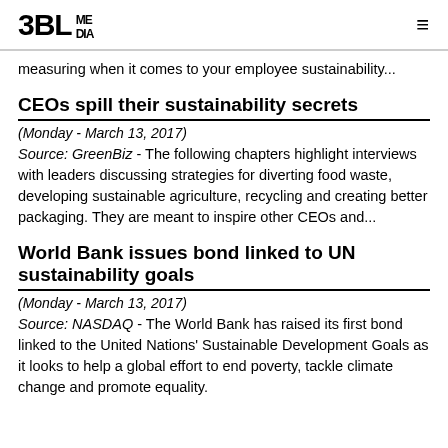3BL MEDIA
measuring when it comes to your employee sustainability...
CEOs spill their sustainability secrets
(Monday - March 13, 2017)
Source: GreenBiz - The following chapters highlight interviews with leaders discussing strategies for diverting food waste, developing sustainable agriculture, recycling and creating better packaging. They are meant to inspire other CEOs and...
World Bank issues bond linked to UN sustainability goals
(Monday - March 13, 2017)
Source: NASDAQ - The World Bank has raised its first bond linked to the United Nations' Sustainable Development Goals as it looks to help a global effort to end poverty, tackle climate change and promote equality.